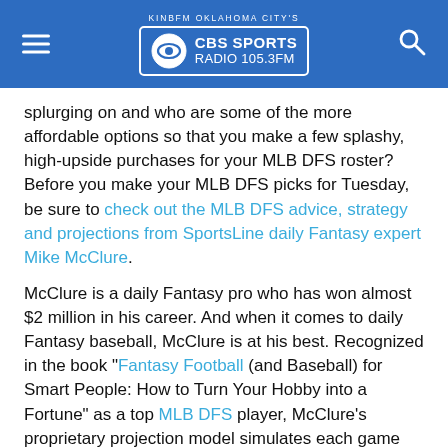KINBFM OKLAHOMA CITY'S CBS SPORTS RADIO 105.3FM
splurging on and who are some of the more affordable options so that you make a few splashy, high-upside purchases for your MLB DFS roster? Before you make your MLB DFS picks for Tuesday, be sure to check out the MLB DFS advice, strategy and projections from SportsLine daily Fantasy expert Mike McClure.
McClure is a daily Fantasy pro who has won almost $2 million in his career. And when it comes to daily Fantasy baseball, McClure is at his best. Recognized in the book "Fantasy Football (and Baseball) for Smart People: How to Turn Your Hobby into a Fortune" as a top MLB DFS player, McClure's proprietary projection model simulates each game 10,000 times, taking factors such as matchups and recent results into account. This allows him to find the best values on every site.